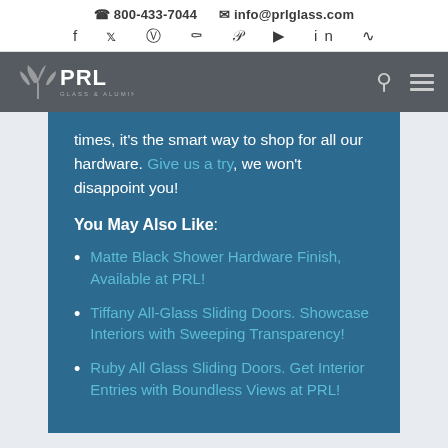800-433-7044  info@prlglass.com
[Figure (logo): PRL Glass & Aluminum logo with stylized wing/shell icon on dark gray navigation bar]
times, it's the smart way to shop for all our hardware. Give us a try, we won't disappoint you!
You May Also Like:
Matte Black Shower Hardware Finish, Available at PRL!
Tiffany All-Glass Sliding Doors. Showcase Interiors with Sweeping Transparency!
Ruby All Glass Sliding Doors. Get Interior Entries with Boundless Views at PRL!